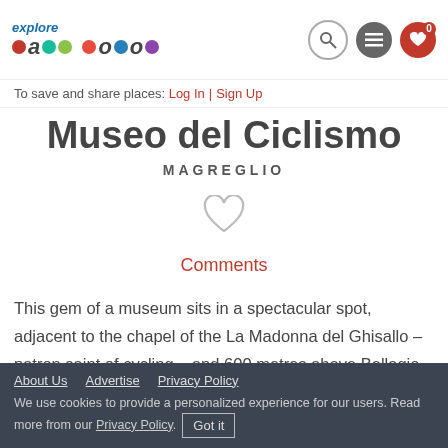explore lake como — navigation header with search, menu, and favourites icons
To save and share places: Log In | Sign Up
Museo del Ciclismo
MAGREGLIO
[Figure (illustration): Heart outline icon (save/favourite button)]
Comments
This gem of a museum sits in a spectacular spot, adjacent to the chapel of the La Madonna del Ghisallo – patron saint of cycling – and 600 metres above Bellagio, offering spectacular views of Lake Como to the North and East. Together with the chapel it houses a collection of
About Us   Advertise   Privacy Policy
We use cookies to provide a personalized experience for our users. Read more from our Privacy Policy.   Got it